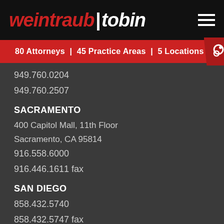weintraub | tobin
80 Attorneys  |  45 Practice Areas  |  5 Locations
949.760.0204
949.760.2507
SACRAMENTO
400 Capitol Mall, 11th Floor
Sacramento, CA 95814
916.558.6000
916.446.1611 fax
SAN DIEGO
858.432.5740
858.432.5747 fax
SAN FRANCISCO